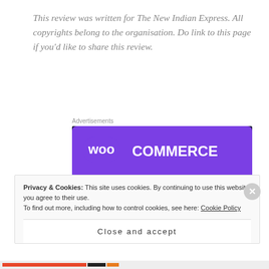This review was written for The New Indian Express. All copyrights belong to the organisation. Do link to this page if you'd like to share this review.
Advertisements
[Figure (illustration): WooCommerce advertisement banner with purple/dark background showing WooCommerce logo and text 'Turn your hobby into a business in 8 steps']
Privacy & Cookies: This site uses cookies. By continuing to use this website, you agree to their use. To find out more, including how to control cookies, see here: Cookie Policy
Close and accept